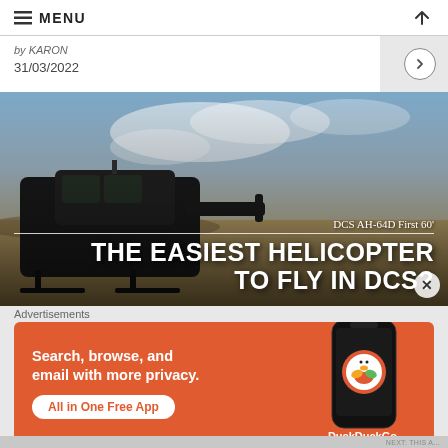≡ MENU
by KARON
31/03/2022
[Figure (photo): Hero image of a DCS AH-64D Apache helicopter on the ground with text overlay: 'DCS AH-64D First 60'' and 'THE EASIEST HELICOPTER TO FLY IN DCS?']
Advertisements
[Figure (infographic): DuckDuckGo advertisement banner with orange background. Text: 'Search, browse, and email with more privacy. All in One Free App'. Shows a phone mockup with DuckDuckGo logo and brand name.]